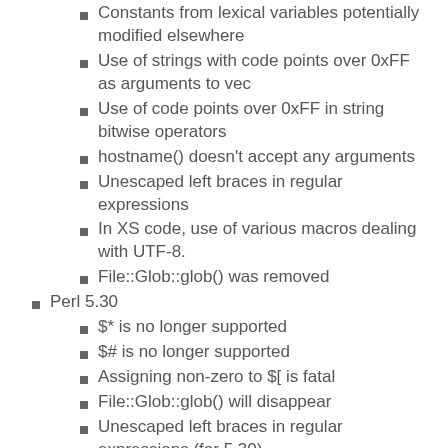Constants from lexical variables potentially modified elsewhere
Use of strings with code points over 0xFF as arguments to vec
Use of code points over 0xFF in string bitwise operators
hostname() doesn't accept any arguments
Unescaped left braces in regular expressions
In XS code, use of various macros dealing with UTF-8.
File::Glob::glob() was removed
Perl 5.30
$* is no longer supported
$# is no longer supported
Assigning non-zero to $[ is fatal
File::Glob::glob() will disappear
Unescaped left braces in regular expressions (for 5.30)
Unqualified dump()